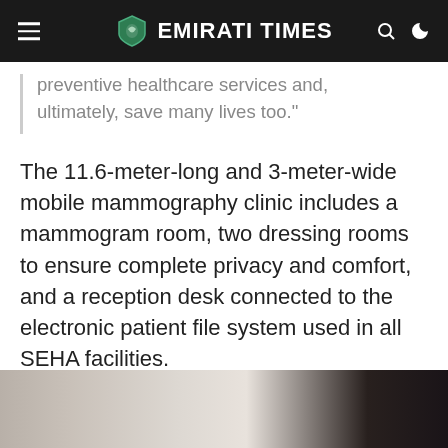EMIRATI TIMES
preventive healthcare services and, ultimately, save many lives too."
The 11.6-meter-long and 3-meter-wide mobile mammography clinic includes a mammogram room, two dressing rooms to ensure complete privacy and comfort, and a reception desk connected to the electronic patient file system used in all SEHA facilities.
[Figure (photo): Photo showing people at a mobile mammography clinic, partially cut off at the bottom of the page]